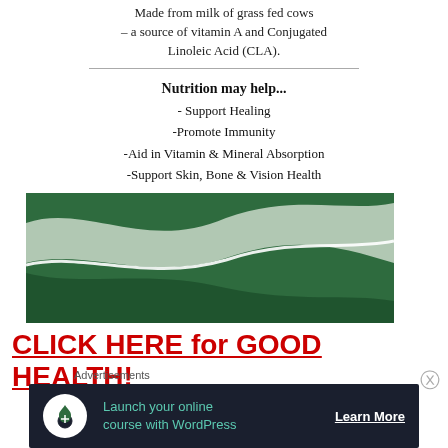Made from milk of grass fed cows – a source of vitamin A and Conjugated Linoleic Acid (CLA).
Nutrition may help...
- Support Healing
-Promote Immunity
-Aid in Vitamin & Mineral Absorption
-Support Skin, Bone & Vision Health
[Figure (illustration): Green wave design graphic with dark green and light grey swooping wave shapes on a white background]
CLICK HERE for GOOD HEALTH!
Advertisements
[Figure (screenshot): Dark advertisement banner with a round white icon showing a person with a tree, teal text reading 'Launch your online course with WordPress', and a white underlined 'Learn More' button]